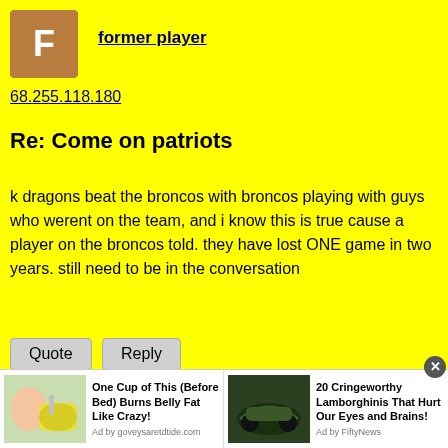[Figure (other): Avatar icon with letter F in brown/tan color for user 'former player']
former player
68.255.118.180
Re: Come on patriots
k dragons beat the broncos with broncos playing with guys who werent on the team, and i know this is true cause a player on the broncos told. they have lost ONE game in two years. still need to be in the conversation
Quote   Reply
[Figure (other): Avatar icon with letter W in green color for user 'WHY']
WHY
75.2.38.202
[Figure (other): Advertisement bar with two ads: 'One Cup of This (Before Bed) Burns Belly Fat Like Crazy!' and '20 Cringeworthy Lamborghinis That Hurt Our Eyes and Brains!']